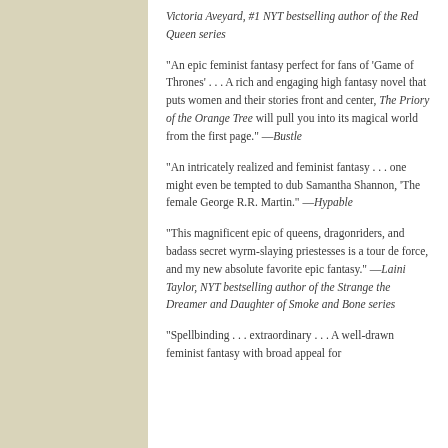Victoria Aveyard, #1 NYT bestselling author of the Red Queen series
“An epic feminist fantasy perfect for fans of ‘Game of Thrones’ . . . A rich and engaging high fantasy novel that puts women and their stories front and center, The Priory of the Orange Tree will pull you into its magical world from the first page.” —Bustle
“An intricately realized and feminist fantasy . . . one might even be tempted to dub Samantha Shannon, ‘The female George R.R. Martin.” —Hypable
“This magnificent epic of queens, dragonriders, and badass secret wyrm-slaying priestesses is a tour de force, and my new absolute favorite epic fantasy.” —Laini Taylor, NYT bestselling author of the Strange the Dreamer and Daughter of Smoke and Bone series
“Spellbinding . . . extraordinary . . . A well-drawn feminist fantasy with broad appeal for